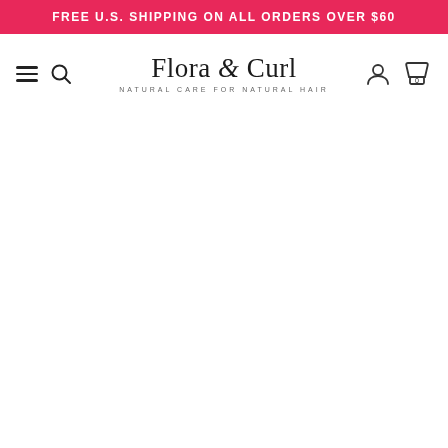FREE U.S. SHIPPING ON ALL ORDERS OVER $60
[Figure (logo): Flora & Curl logo with tagline 'NATURAL CARE FOR NATURAL HAIR' and navigation icons including hamburger menu, search, user account, and shopping cart with 0 items]